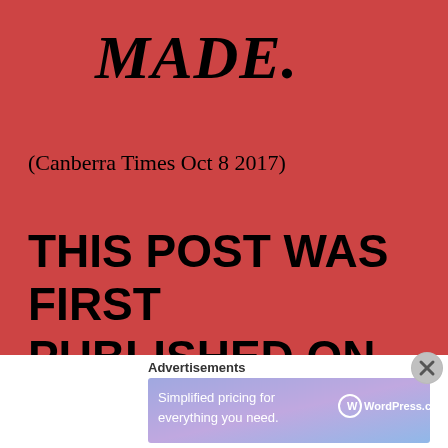MADE.
(Canberra Times Oct 8 2017)
THIS POST WAS FIRST PUBLISHED ON JULY 5 2015
Advertisements
[Figure (other): WordPress.com advertisement banner: 'Simplified pricing for everything you need.' with WordPress.com logo on gradient background.]